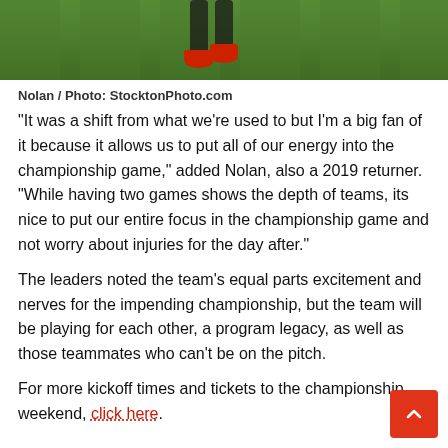[Figure (photo): Cropped photo of a soccer player on grass field, showing legs with red cleats and green grass background.]
Nolan / Photo: StocktonPhoto.com
“It was a shift from what we’re used to but I’m a big fan of it because it allows us to put all of our energy into the championship game,” added Nolan, also a 2019 returner. “While having two games shows the depth of teams, its nice to put our entire focus in the championship game and not worry about injuries for the day after.”
The leaders noted the team’s equal parts excitement and nerves for the impending championship, but the team will be playing for each other, a program legacy, as well as those teammates who can’t be on the pitch.
For more kickoff times and tickets to the championship weekend, click here.